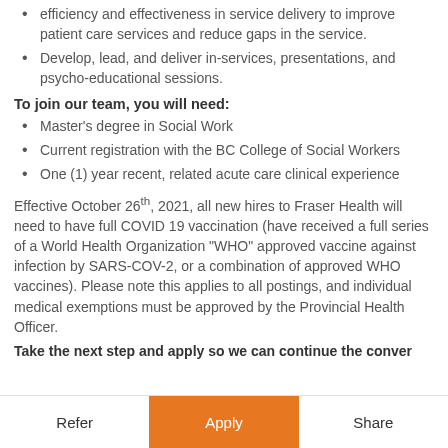efficiency and effectiveness in service delivery to improve patient care services and reduce gaps in the service.
Develop, lead, and deliver in-services, presentations, and psycho-educational sessions.
To join our team, you will need:
Master's degree in Social Work
Current registration with the BC College of Social Workers
One (1) year recent, related acute care clinical experience
Effective October 26th, 2021, all new hires to Fraser Health will need to have full COVID 19 vaccination (have received a full series of a World Health Organization “WHO” approved vaccine against infection by SARS-COV-2, or a combination of approved WHO vaccines). Please note this applies to all postings, and individual medical exemptions must be approved by the Provincial Health Officer.
Take the next step and apply so we can continue the conver…
Refer | Apply | Share